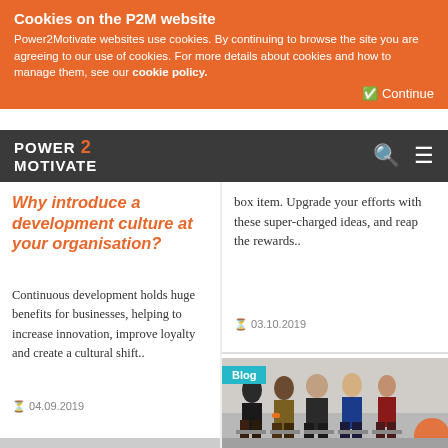Cookies on the P2M website
Power2Motivate websites use cookies. By continuing to browse the site you are agreeing to our use of cookies. For more details about cookies and how to manage them, see our cookie policy.
Continue
[Figure (logo): Power2Motivate logo with search and menu icons on dark navbar]
Why introduce a development culture at your organisation?
Continuous development holds huge benefits for businesses, helping to increase innovation, improve loyalty and create a cultural shift..
04.09.2019
box item. Upgrade your efforts with these super-charged ideas, and reap the rewards..
03.10.2019
[Figure (photo): Group of people sitting on chairs in a row, blog section image with Blog tag]